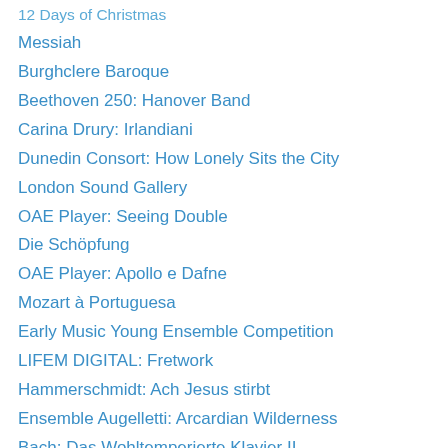12 Days of Christmas
Messiah
Burghclere Baroque
Beethoven 250: Hanover Band
Carina Drury: Irlandiani
Dunedin Consort: How Lonely Sits the City
London Sound Gallery
OAE Player: Seeing Double
Die Schöpfung
OAE Player: Apollo e Dafne
Mozart à Portuguesa
Early Music Young Ensemble Competition
LIFEM DIGITAL: Fretwork
Hammerschmidt: Ach Jesus stirbt
Ensemble Augelletti: Arcardian Wilderness
Bach: Das Wohltemperierte Klavier II
Northern Star Festival: A Glimpse of Earthly Delights
Handel: Ode for St Cecilia's Day
Master Musicians: Bach
Animam gementem cano
Anne Stevenson: Fantasia & Bach